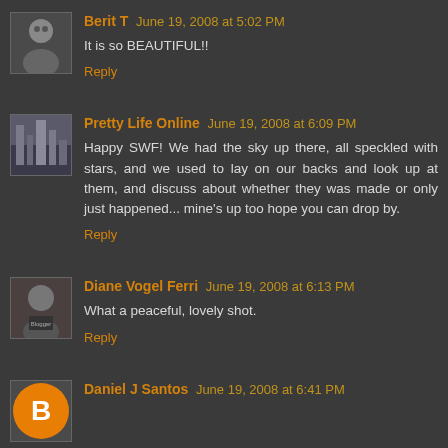[Figure (photo): Avatar of Berit T, elderly person, grayscale photo]
Berit T June 19, 2008 at 5:02 PM
It is so BEAUTIFUL!!
Reply
[Figure (photo): Avatar of Pretty Life Online, city/building photo]
Pretty Life Online June 19, 2008 at 6:09 PM
Happy SWF! We had the sky up there, all speckled with stars, and we used to lay on our backs and look up at them, and discuss about whether they was made or only just happened... mine's up too hope you can drop by.
Reply
[Figure (photo): Avatar of Diane Vogel Ferri, person photo]
Diane Vogel Ferri June 19, 2008 at 6:13 PM
What a peaceful, lovely shot.
Reply
[Figure (logo): Daniel J Santos blogger avatar, orange circle with B]
Daniel J Santos June 19, 2008 at 6:41 PM